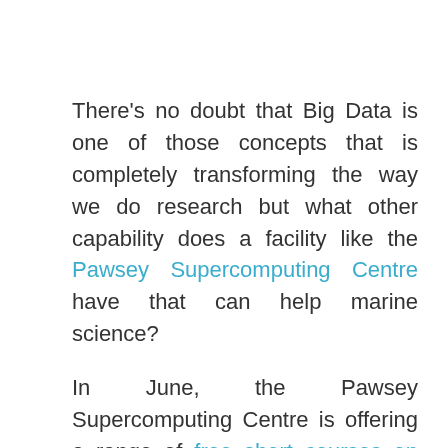There's no doubt that Big Data is one of those concepts that is completely transforming the way we do research but what other capability does a facility like the Pawsey Supercomputing Centre have that can help marine science?
In June, the Pawsey Supercomputing Centre is offering a range of free short courses on supercomputing topics. WAMSI researchers, partners and friends are encouraged to consider taking advantage of